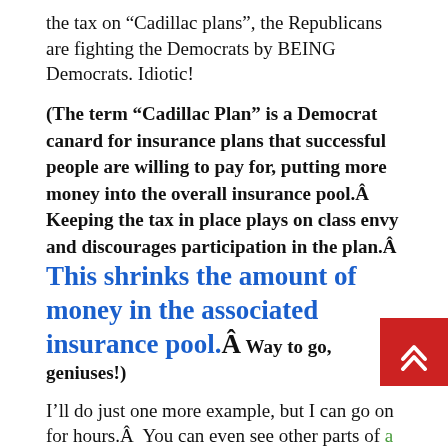the tax on “Cadillac plans”, the Republicans are fighting the Democrats by BEING Democrats. Idiotic!
(The term “Cadillac Plan” is a Democrat canard for insurance plans that successful people are willing to pay for, putting more money into the overall insurance pool.Â Keeping the tax in place plays on class envy and discourages participation in the plan.Â This shrinks the amount of money in the associated insurance pool.Â Way to go, geniuses!)
I’ll do just one more example, but I can go on for hours.Â You can even see other parts of a valid